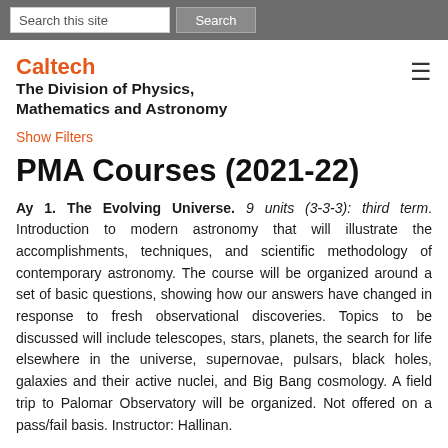Search this site | Search
Caltech
The Division of Physics, Mathematics and Astronomy
Show Filters
PMA Courses (2021-22)
Ay 1. The Evolving Universe. 9 units (3-3-3): third term. Introduction to modern astronomy that will illustrate the accomplishments, techniques, and scientific methodology of contemporary astronomy. The course will be organized around a set of basic questions, showing how our answers have changed in response to fresh observational discoveries. Topics to be discussed will include telescopes, stars, planets, the search for life elsewhere in the universe, supernovae, pulsars, black holes, galaxies and their active nuclei, and Big Bang cosmology. A field trip to Palomar Observatory will be organized. Not offered on a pass/fail basis. Instructor: Hallinan.